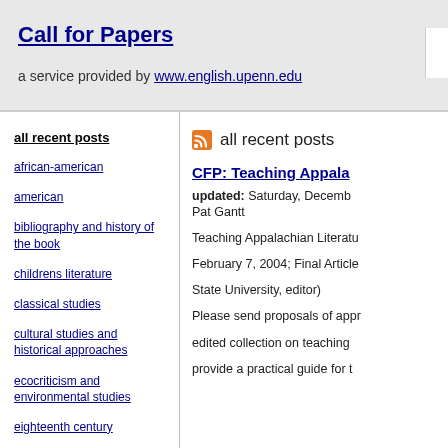Call for Papers
a service provided by www.english.upenn.edu
all recent posts
african-american
american
bibliography and history of the book
childrens literature
classical studies
cultural studies and historical approaches
ecocriticism and environmental studies
eighteenth century
all recent posts
CFP: Teaching Appala...
updated: Saturday, Decemb...
Pat Gantt
Teaching Appalachian Literatu...
February 7, 2004; Final Article...
State University, editor)
Please send proposals of appr...
edited collection on teaching...
provide a practical guide for t...